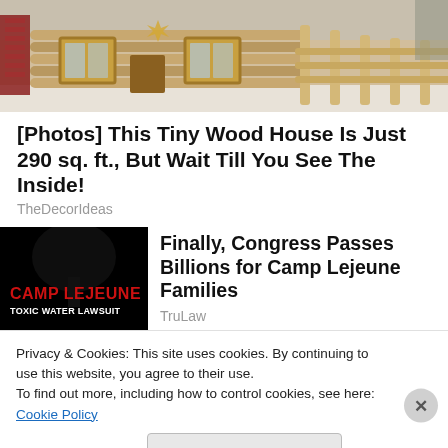[Figure (photo): Exterior of a small log cabin/wood house with yellow-toned logs, windows with wooden frames, and a porch with log railings. Snow visible in background.]
[Photos] This Tiny Wood House Is Just 290 sq. ft., But Wait Till You See The Inside!
TheDecorIdeas
[Figure (photo): Black background image with red text 'CAMP LEJEUNE' and white text 'TOXIC WATER LAWSUIT' with a dark tree silhouette.]
Finally, Congress Passes Billions for Camp Lejeune Families
TruLaw
Privacy & Cookies: This site uses cookies. By continuing to use this website, you agree to their use.
To find out more, including how to control cookies, see here: Cookie Policy
Close and accept